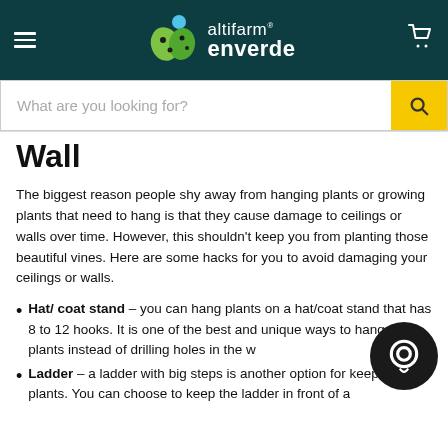altifarm enverde
Wall
The biggest reason people shy away from hanging plants or growing plants that need to hang is that they cause damage to ceilings or walls over time. However, this shouldn't keep you from planting those beautiful vines. Here are some hacks for you to avoid damaging your ceilings or walls.
Hat/ coat stand – you can hang plants on a hat/coat stand that has 8 to 12 hooks. It is one of the best and unique ways to hang your plants instead of drilling holes in the wall.
Ladder – a ladder with big steps is another option for keeping your plants. You can choose to keep the ladder in front of a